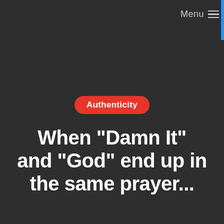Menu ≡
Authenticity
When "Damn It" and "God" end up in the same prayer...
loswhit
November 27, 2012